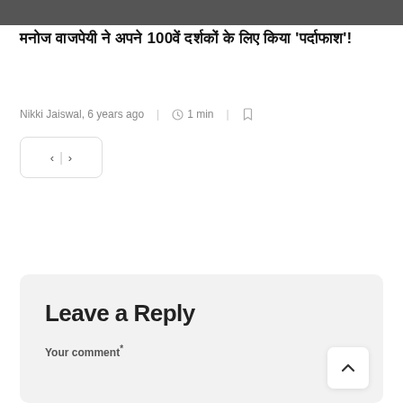[Figure (photo): Dark photo strip at top of page, partially cropped]
मनोज वाजपेयी ने अपने 100वें दर्शकों के लिए किया 'पर्दाफाश'!
Nikki Jaiswal, 6 years ago | 1 min |
[Figure (other): Navigation control with left and right chevron arrows separated by a vertical bar, inside a rounded rectangle box]
Leave a Reply
Your comment*